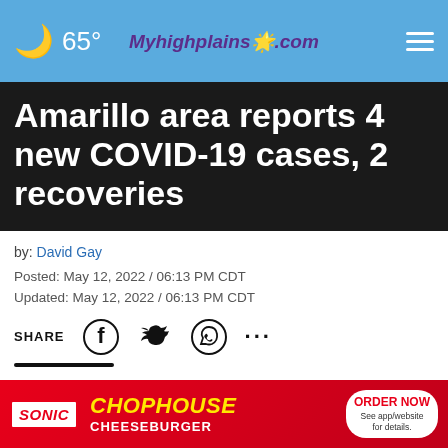🌙 65° Myhighplains.com ≡
Amarillo area reports 4 new COVID-19 cases, 2 recoveries
by: David Gay
Posted: May 12, 2022 / 06:13 PM CDT
Updated: May 12, 2022 / 06:13 PM CDT
SHARE [Facebook] [Twitter] [WhatsApp] [...]
AMARILLO, Texas (KAMR/KCIT) — The Amarillo Public Health Department reported four new COVID-19 cases for Potter and Randall counties and two COVID-19 recoveries dashboard on the Amarillo Alerts webpage
[Figure (screenshot): Sonic Chophouse Cheeseburger advertisement banner with ORDER NOW button]